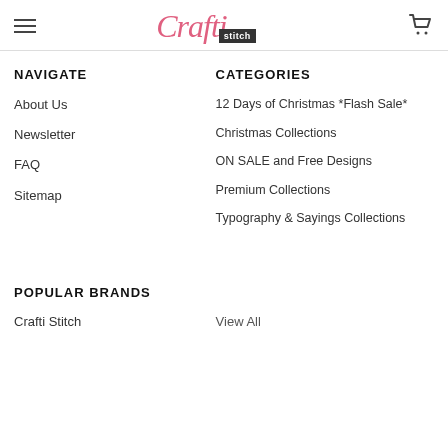Crafti Stitch
NAVIGATE
About Us
Newsletter
FAQ
Sitemap
CATEGORIES
12 Days of Christmas *Flash Sale*
Christmas Collections
ON SALE and Free Designs
Premium Collections
Typography & Sayings Collections
POPULAR BRANDS
Crafti Stitch
View All